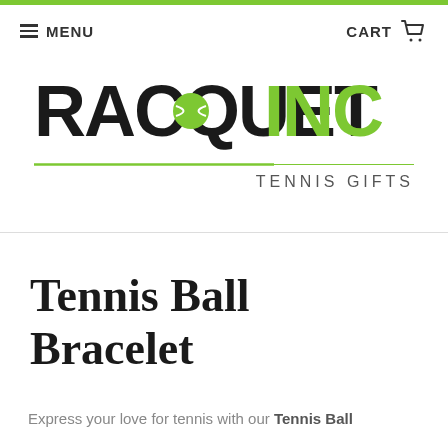MENU | CART
[Figure (logo): Racquet Inc Tennis Gifts logo — RACQUET in black bold, INC in lime green bold, with a tennis ball inside the Q, underlined with a thin green line, TENNIS GIFTS in grey spaced text to the right]
Tennis Ball Bracelet
Express your love for tennis with our Tennis Ball